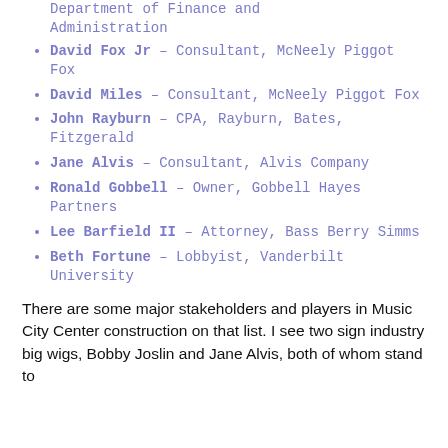Department of Finance and Administration
David Fox Jr – Consultant, McNeely Piggot Fox
David Miles – Consultant, McNeely Piggot Fox
John Rayburn – CPA, Rayburn, Bates, Fitzgerald
Jane Alvis – Consultant, Alvis Company
Ronald Gobbell – Owner, Gobbell Hayes Partners
Lee Barfield II – Attorney, Bass Berry Simms
Beth Fortune – Lobbyist, Vanderbilt University
There are some major stakeholders and players in Music City Center construction on that list. I see two sign industry big wigs, Bobby Joslin and Jane Alvis, both of whom stand to